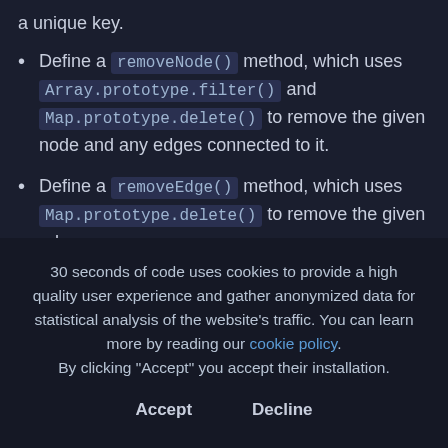a unique key.
Define a removeNode() method, which uses Array.prototype.filter() and Map.prototype.delete() to remove the given node and any edges connected to it.
Define a removeEdge() method, which uses Map.prototype.delete() to remove the given edge
30 seconds of code uses cookies to provide a high quality user experience and gather anonymized data for statistical analysis of the website's traffic. You can learn more by reading our cookie policy.
By clicking "Accept" you accept their installation.
Accept
Decline